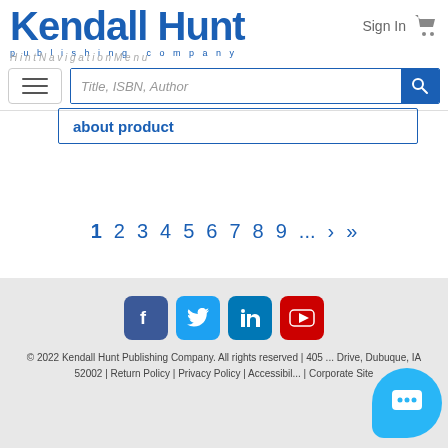Kendall Hunt publishing company
Sign In
Title, ISBN, Author (search bar)
about product
1 2 3 4 5 6 7 8 9 ... > >>
[Figure (other): Social media icons: Facebook, Twitter, LinkedIn, YouTube]
© 2022 Kendall Hunt Publishing Company. All rights reserved | 405 ... Drive, Dubuque, IA 52002 | Return Policy | Privacy Policy | Accessibility ... | Corporate Site